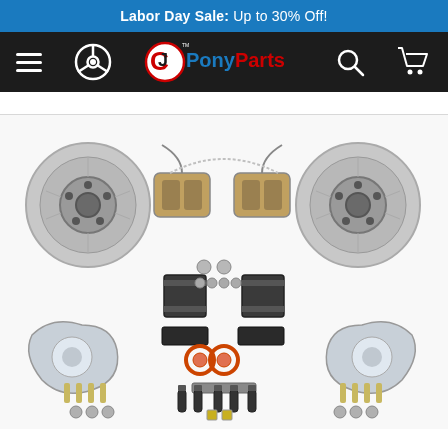Labor Day Sale: Up to 30% Off!
[Figure (logo): CJ Pony Parts navigation bar with hamburger menu, steering wheel icon, CJ Pony Parts logo, search icon, and shopping cart icon on dark background]
[Figure (photo): Automotive front disc brake conversion kit spread out showing two large brake rotors with hubs, two brake calipers, dust shields/backing plates, brake pads, bearings, seals, brackets, hardware bolts and various small components laid out on white background]